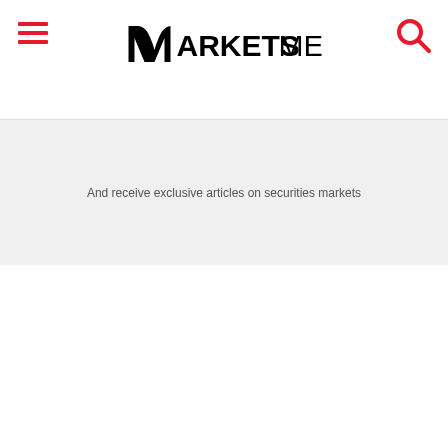MARKETS MEDIA
And receive exclusive articles on securities markets